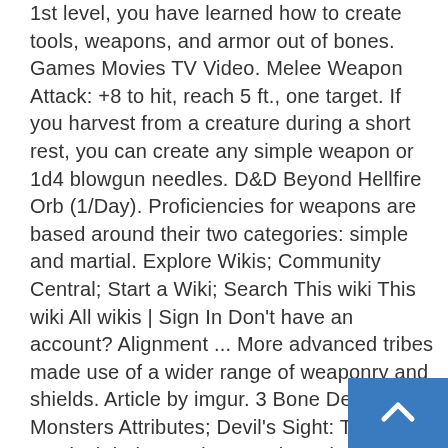1st level, you have learned how to create tools, weapons, and armor out of bones. Games Movies TV Video. Melee Weapon Attack: +8 to hit, reach 5 ft., one target. If you harvest from a creature during a short rest, you can create any simple weapon or 1d4 blowgun needles. D&D Beyond Hellfire Orb (1/Day). Proficiencies for weapons are based around their two categories: simple and martial. Explore Wikis; Community Central; Start a Wiki; Search This wiki This wiki All wikis | Sign In Don't have an account? Alignment ... More advanced tribes made use of a wider range of weaponry and shields. Article by imgur. 3 Bone Devil 5e Monsters Attributes; Devil's Sight: The magical darkness does not impede the devil's Darkvision. A comprehensive list of all official magic items for Fifth Edition. The target can repeat the saving throw at the end of each of its turns, ending the effect on itself on a success . October 2020. 5e 4e 3e 2e 1e Lizardfolk, report, log in or register to remove this ad . 28/06/2020
[Figure (other): Blue scroll-to-top button with upward arrow chevron icon, positioned in bottom-right corner]